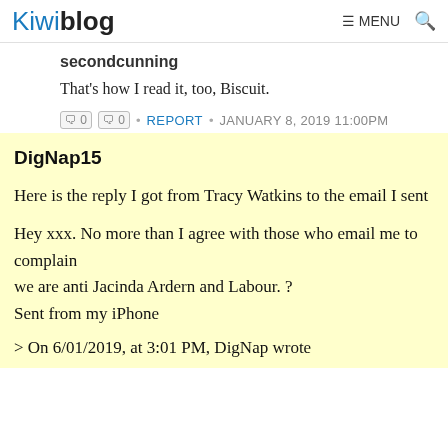Kiwiblog  ≡ MENU 🔍
secondcunning
That's how I read it, too, Biscuit.
🗨 0 🗨 0 • REPORT • JANUARY 8, 2019 11:00PM
DigNap15
Here is the reply I got from Tracy Watkins to the email I sent
Hey xxx. No more than I agree with those who email me to complain
we are anti Jacinda Ardern and Labour. ?
Sent from my iPhone
> On 6/01/2019, at 3:01 PM, DigNap wrote